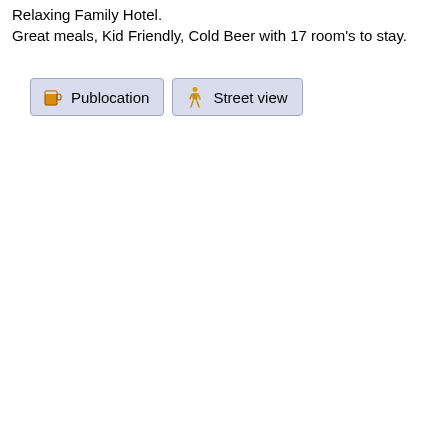Relaxing Family Hotel.
Great meals, Kid Friendly, Cold Beer with 17 room's to stay.
[Figure (screenshot): Two buttons side by side: 'Publocation' with a beer mug icon, and 'Street view' with a person/pedestrian icon. Both buttons have a light blue-grey background with a border.]